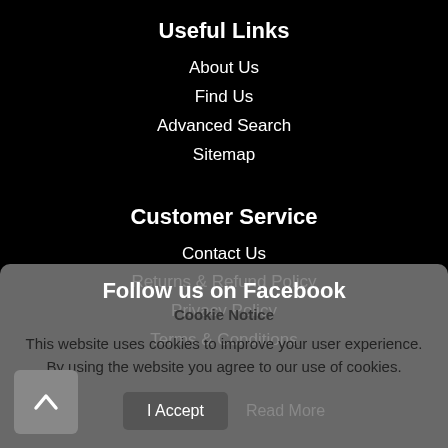Useful Links
About Us
Find Us
Advanced Search
Sitemap
Customer Service
Contact Us
Returns & Refund Policy
Privacy Policy
Terms & Conditions
Follow us on Facebook
Cookie Notice
This website uses cookies to improve your user experience. By using the website you agree to our use of cookies.
I Accept
Read More